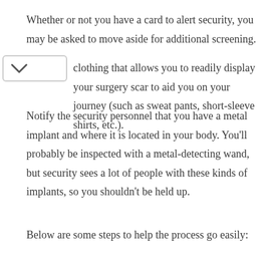Whether or not you have a card to alert security, you may be asked to move aside for additional screening.
clothing that allows you to readily display your surgery scar to aid you on your journey (such as sweat pants, short-sleeve shirts, etc.).
Notify the security personnel that you have a metal implant and where it is located in your body. You’ll probably be inspected with a metal-detecting wand, but security sees a lot of people with these kinds of implants, so you shouldn’t be held up.
Below are some steps to help the process go easily: